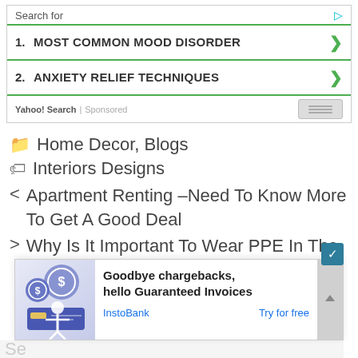[Figure (screenshot): Yahoo Search sponsored ad banner with two search result items: 1. MOST COMMON MOOD DISORDER and 2. ANXIETY RELIEF TECHNIQUES, with green arrows and green divider lines, Yahoo! Search | Sponsored label at bottom]
Home Decor, Blogs
Interiors Designs
< Apartment Renting –Need To Know More To Get A Good Deal
> Why Is It Important To Wear PPE In The Workplace?
[Figure (screenshot): InstoBank advertisement popup: 'Goodbye chargebacks, hello Guaranteed Invoices' with illustration of man with dollar coins and credit card, InstoBank brand link and 'Try for free' CTA]